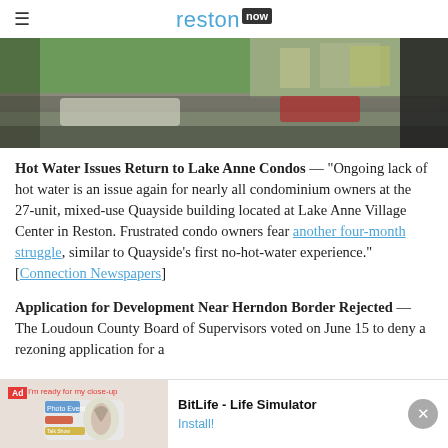☰ reston now
[Figure (photo): Street scene with cars on a road, green trees and buildings in background, taken from a pole or post viewpoint]
Hot Water Issues Return to Lake Anne Condos — "Ongoing lack of hot water is an issue again for nearly all condominium owners at the 27-unit, mixed-use Quayside building located at Lake Anne Village Center in Reston. Frustrated condo owners fear another four-month struggle, similar to Quayside's first no-hot-water experience." [Connection Newspapers]
Application for Development Near Herndon Border Rejected — The Loudoun County Board of Supervisors voted on June 15 to deny a rezoning application for a proposed … the W&OD … e
[Figure (screenshot): Ad banner for BitLife - Life Simulator app with red Ad badge, app icon, title, and Install button with close X button]